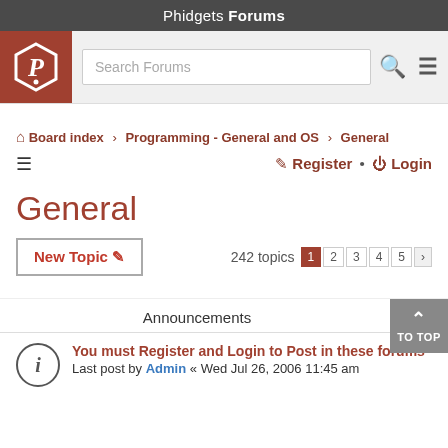Phidgets Forums
[Figure (screenshot): Phidgets logo (white P hexagon on brown background) and search bar with search icon and hamburger menu]
Board index › Programming - General and OS › General
≡   Register • Login
General
New Topic ✏   242 topics 1 2 3 4 5 >
Announcements
You must Register and Login to Post in these forums
Last post by Admin « Wed Jul 26, 2006 11:45 am